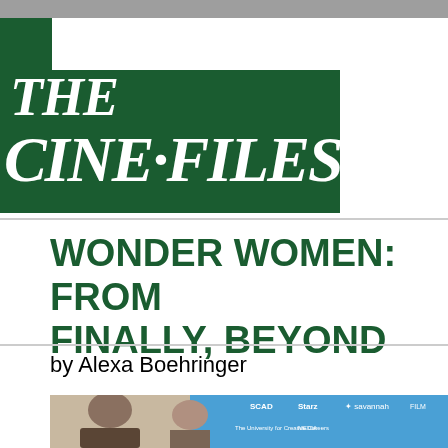THE CINE-FILES
WONDER WOMEN: FROM FINALLY, BEYOND
by Alexa Boehringer
[Figure (photo): Photo of women seated at a panel table in front of a blue backdrop with SCAD, Starz, Savannah Film Festival logos]